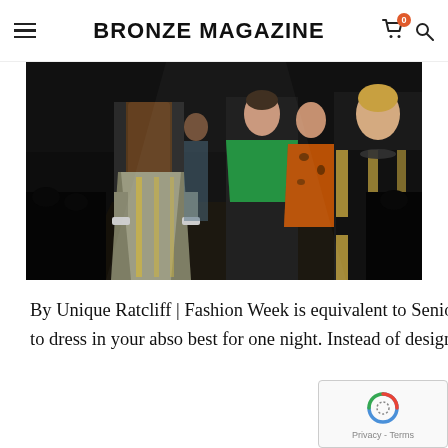BRONZE MAGAZINE
[Figure (photo): Fashion show runway with models wearing elaborate metallic, green sequined, orange patterned, and black-and-gold striped garments walking towards the camera in a dark venue.]
By Unique Ratcliff | Fashion Week is equivalent to Senior prom for the fashion industry. Itâ€™s that one opportunity to dress in your abso best for one night. Instead of designers do…